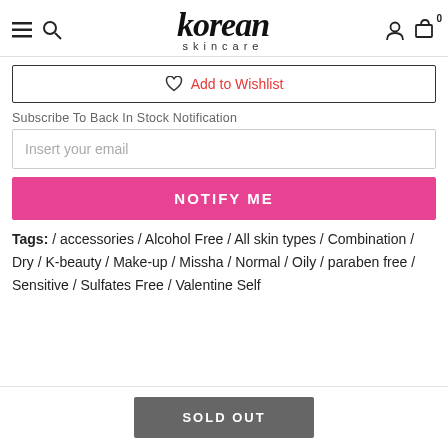korean skincare
♡ Add to Wishlist
Subscribe To Back In Stock Notification
Insert your email
NOTIFY ME
Tags: / accessories / Alcohol Free / All skin types / Combination / Dry / K-beauty / Make-up / Missha / Normal / Oily / paraben free / Sensitive / Sulfates Free / Valentine Self
SOLD OUT